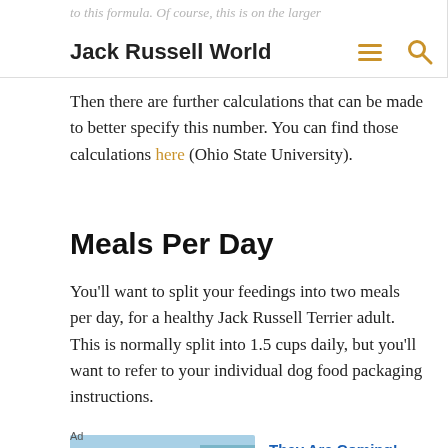to this formula. Of course, this is on the larger | Jack Russell World
Then there are further calculations that can be made to better specify this number. You can find those calculations here (Ohio State University).
Meals Per Day
You'll want to split your feedings into two meals per day, for a healthy Jack Russell Terrier adult. This is normally split into 1.5 cups daily, but you'll want to refer to your individual dog food packaging instructions.
[Figure (screenshot): Advertisement image showing a game screenshot with road, figures, and text 'Hold and Move' with score indicators -20 and x3]
Ad
They Are Coming!